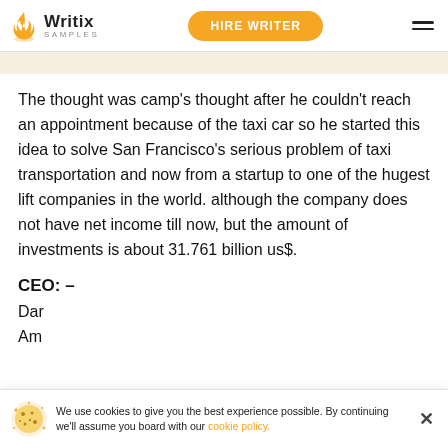Writix SAMPLES | HIRE WRITER
The thought was camp’s thought after he couldn’t reach an appointment because of the taxi car so he started this idea to solve San Francisco's serious problem of taxi transportation and now from a startup to one of the hugest lift companies in the world. although the company does not have net income till now, but the amount of investments is about 31.761 billion us$.
CEO: –
Dar…
Am…
We use cookies to give you the best experience possible. By continuing we’ll assume you board with our cookie policy.